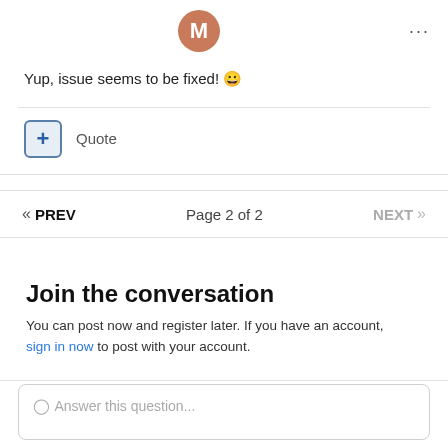[Figure (other): User avatar circle with letter M in brown/terracotta color, and three dots menu icon on the right]
Yup, issue seems to be fixed! 😀
+ Quote
« PREV   Page 2 of 2   NEXT »
Join the conversation
You can post now and register later. If you have an account, sign in now to post with your account.
Answer this question...